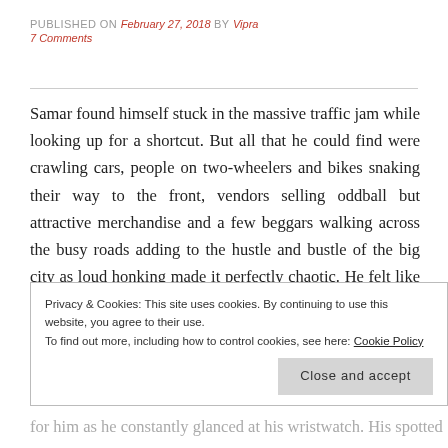PUBLISHED ON February 27, 2018 by Vipra
7 Comments
Samar found himself stuck in the massive traffic jam while looking up for a shortcut. But all that he could find were crawling cars, people on two-wheelers and bikes snaking their way to the front, vendors selling oddball but attractive merchandise and a few beggars walking across the busy roads adding to the hustle and bustle of the big city as loud honking made it perfectly chaotic. He felt like the emotional chaos within him was reflected outside too. He was being restless but
Privacy & Cookies: This site uses cookies. By continuing to use this website, you agree to their use.
To find out more, including how to control cookies, see here: Cookie Policy
for him as he constantly glanced at his wristwatch. His spotted